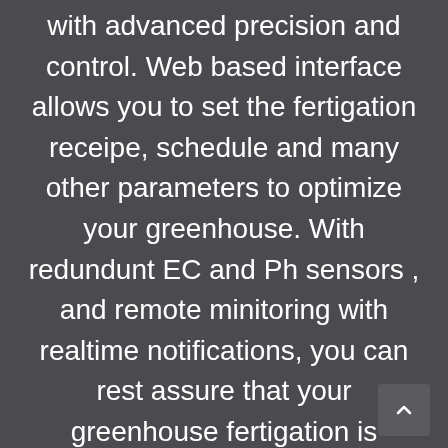with advanced precision and control. Web based interface allows you to set the fertigation receipe, schedule and many other parameters to optimize your greenhouse. With redundunt EC and Ph sensors , and remote minitoring with realtime notifications, you can rest assure that your greenhouse fertigation is running trouble free.
EC &amp; PH Target values with precision